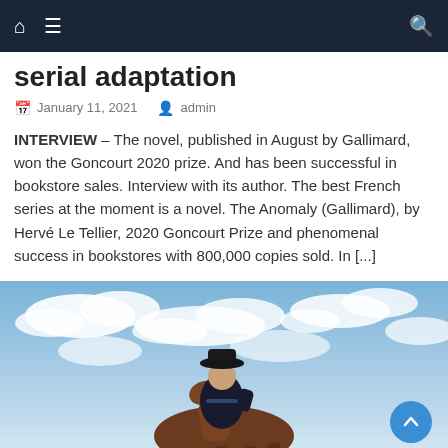Navigation bar with home, menu, and search icons
serial adaptation
January 11, 2021   admin
INTERVIEW – The novel, published in August by Gallimard, won the Goncourt 2020 prize. And has been successful in bookstore sales. Interview with its author. The best French series at the moment is a novel. The Anomaly (Gallimard), by Hervé Le Tellier, 2020 Goncourt Prize and phenomenal success in bookstores with 800,000 copies sold. In [...]
[Figure (photo): A person wearing a cowboy hat riding a horse against a partly cloudy sky, viewed from behind and to the side.]